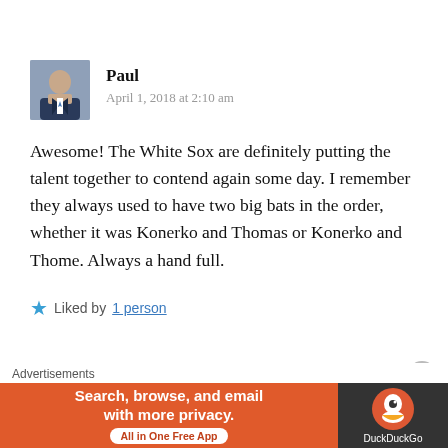[Figure (photo): Avatar photo of commenter Paul, a man in a suit]
Paul
April 1, 2018 at 2:10 am
Awesome! The White Sox are definitely putting the talent together to contend again some day. I remember they always used to have two big bats in the order, whether it was Konerko and Thomas or Konerko and Thome. Always a hand full.
★ Liked by 1 person
Reply
Advertisements
Search, browse, and email with more privacy. All in One Free App